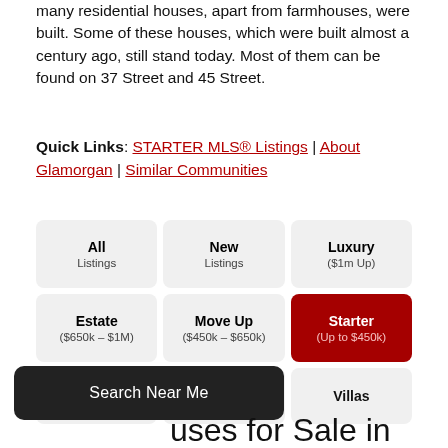many residential houses, apart from farmhouses, were built. Some of these houses, which were built almost a century ago, still stand today. Most of them can be found on 37 Street and 45 Street.
Quick Links: STARTER MLS® Listings | About Glamorgan | Similar Communities
| Col1 | Col2 | Col3 |
| --- | --- | --- |
| All Listings | New Listings | Luxury ($1m Up) |
| Estate ($650k–$1M) | Move Up ($450k–$650k) | Starter (Up to $450k) |
| Townhomes | Condos | Villas |
Search Near Me
uses for Sale in